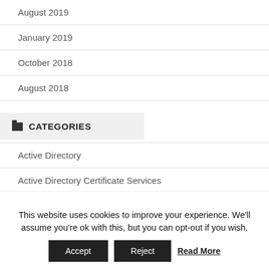August 2019
January 2019
October 2018
August 2018
CATEGORIES
Active Directory
Active Directory Certificate Services
ADE token
This website uses cookies to improve your experience. We'll assume you're ok with this, but you can opt-out if you wish.